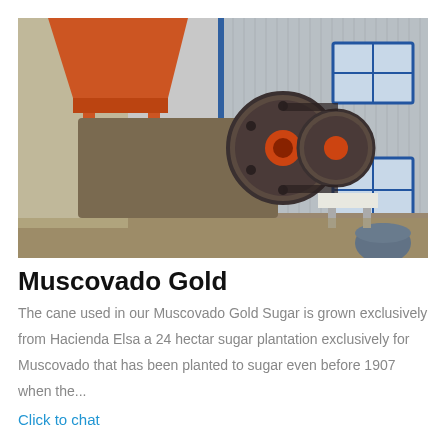[Figure (photo): Industrial machinery including a jaw crusher and conveyor equipment with a large orange hopper/bin on the left, large flywheels in the center, and a corrugated metal building with blue-trimmed windows on the right. Equipment is dusty and set on bare earth.]
Muscovado Gold
The cane used in our Muscovado Gold Sugar is grown exclusively from Hacienda Elsa a 24 hectar sugar plantation exclusively for Muscovado that has been planted to sugar even before 1907 when the...
Click to chat